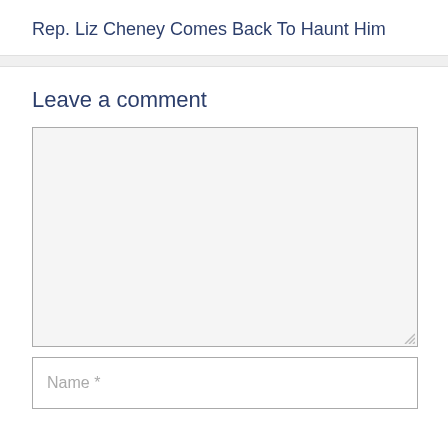Rep. Liz Cheney Comes Back To Haunt Him
Leave a comment
[Figure (other): Comment text area input box (empty, with resize handle)]
[Figure (other): Name input field with placeholder text 'Name *']